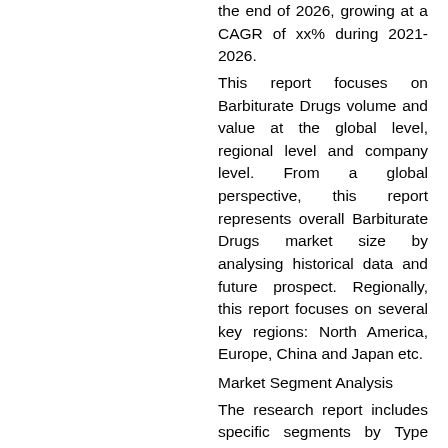the end of 2026, growing at a CAGR of xx% during 2021-2026.
This report focuses on Barbiturate Drugs volume and value at the global level, regional level and company level. From a global perspective, this report represents overall Barbiturate Drugs market size by analysing historical data and future prospect. Regionally, this report focuses on several key regions: North America, Europe, China and Japan etc.
Market Segment Analysis
The research report includes specific segments by Type and by Application. This study provides information about the sales and revenue during the historic and forecasted period of 2015 to 2026. Understanding the segments helps in identifying the importance of different factors that aid the market growth.
Segment by Type, the Barbiturate